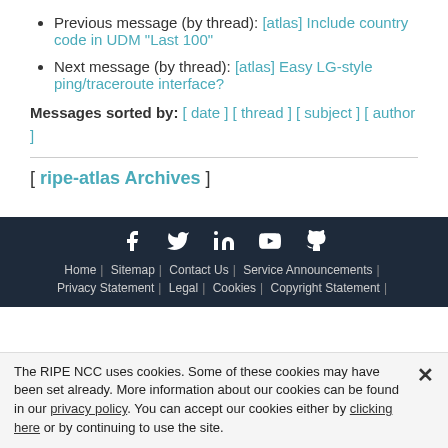Previous message (by thread): [atlas] Include country code in UDM "Last 100"
Next message (by thread): [atlas] Easy LG-style ping/traceroute interface?
Messages sorted by: [ date ] [ thread ] [ subject ] [ author ]
[ ripe-atlas Archives ]
Home | Sitemap | Contact Us | Service Announcements | Privacy Statement | Legal | Cookies | Copyright Statement
The RIPE NCC uses cookies. Some of these cookies may have been set already. More information about our cookies can be found in our privacy policy. You can accept our cookies either by clicking here or by continuing to use the site.